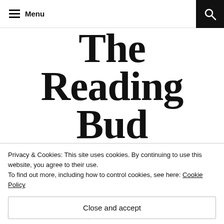Menu | [search icon]
The Reading Bud
Privacy & Cookies: This site uses cookies. By continuing to use this website, you agree to their use.
To find out more, including how to control cookies, see here: Cookie Policy
Close and accept
Book Review: Vampire Academy